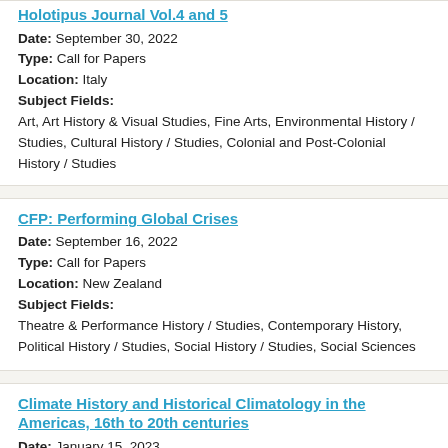Holotipus Journal Vol.4 and 5
Date: September 30, 2022
Type: Call for Papers
Location: Italy
Subject Fields:
Art, Art History & Visual Studies, Fine Arts, Environmental History / Studies, Cultural History / Studies, Colonial and Post-Colonial History / Studies
CFP: Performing Global Crises
Date: September 16, 2022
Type: Call for Papers
Location: New Zealand
Subject Fields:
Theatre & Performance History / Studies, Contemporary History, Political History / Studies, Social History / Studies, Social Sciences
Climate History and Historical Climatology in the Americas, 16th to 20th centuries
Date: January 15, 2023
Type: Call for Publications
Subject Fields:
Environmental History / Studies, Latin American and